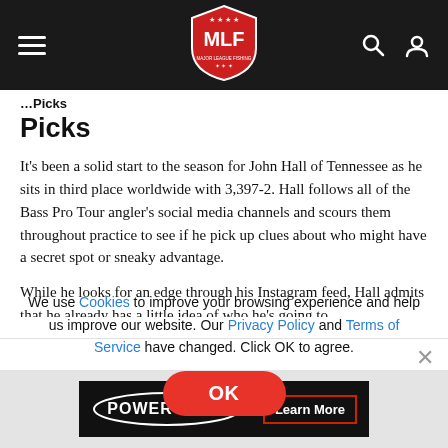MLF - Major League Fishing
Picks
It's been a solid start to the season for John Hall of Tennessee as he sits in third place worldwide with 3,397-2. Hall follows all of the Bass Pro Tour angler's social media channels and scours them throughout practice to see if he pick up clues about who might have a secret spot or sneaky advantage.
While he looks for an edge through his Instagram feed, Hall admits that he already has a little idea of who he's going to...
We use Cookies to improve your browsing experience and help us improve our website. Our Privacy Policy and Terms of Service have changed. Click OK to agree.
[Figure (logo): POWER-POLE brand logo with Learn More button on dark background advertisement banner]